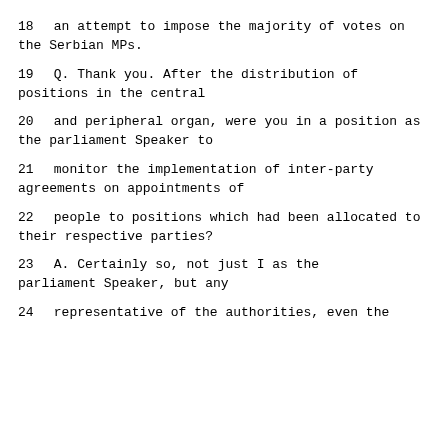18    an attempt to impose the majority of votes on the Serbian MPs.
19         Q.   Thank you.  After the distribution of positions in the central
20      and peripheral organ, were you in a position as the parliament Speaker to
21      monitor the implementation of inter-party agreements on appointments of
22      people to positions which had been allocated to their respective parties?
23         A.   Certainly so, not just I as the parliament Speaker, but any
24      representative of the authorities, even the